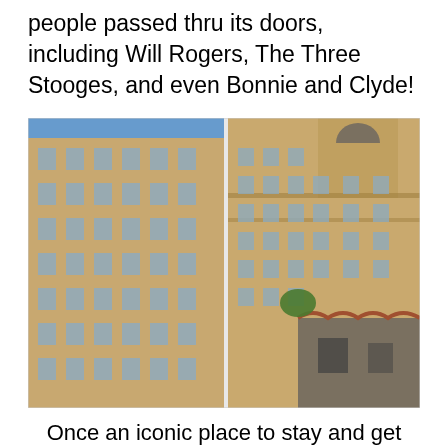people passed thru its doors, including Will Rogers, The Three Stooges, and even Bonnie and Clyde!
[Figure (photo): Upward-angled photograph of a large multi-story brick hotel building (Baker Hotel) against a blue sky, with an ornate upper tower visible on the right side and a lower stone annex structure in the foreground right.]
Once an iconic place to stay and get mineral water spa treatments.